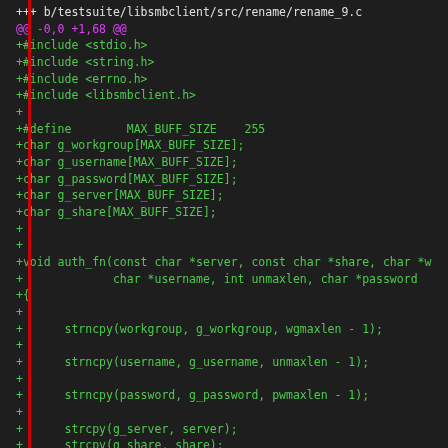[Figure (screenshot): Code diff view showing a new C source file testsuite/libsmbclient/src/rename/rename_9.c being added. The diff includes includes for stdio.h, string.h, errno.h, libsmbclient.h, a MAX_BUFF_SIZE define of 255, global char arrays for workgroup, username, password, server, share, an auth_fn function with strncpy/strcpy calls, and the start of a main function. Lines added are shown in green with + prefix, the hunk header is in magenta.]